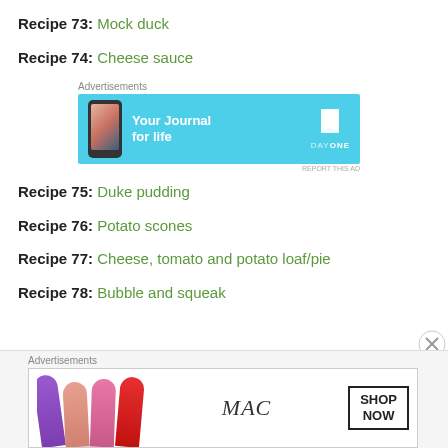Recipe 73: Mock duck
Recipe 74: Cheese sauce
[Figure (illustration): DayOne app advertisement banner: 'Your Journal for life' with phone graphic and bookmark icon]
Recipe 75: Duke pudding
Recipe 76: Potato scones
Recipe 77: Cheese, tomato and potato loaf/pie
Recipe 78: Bubble and squeak
[Figure (illustration): MAC cosmetics advertisement banner with lipsticks and 'SHOP NOW' button]